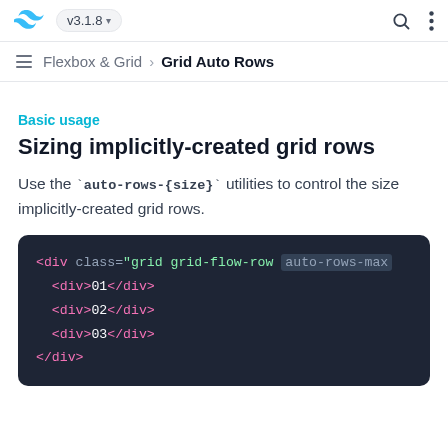v3.1.8
Flexbox & Grid > Grid Auto Rows
Basic usage
Sizing implicitly-created grid rows
Use the `auto-rows-{size}` utilities to control the size implicitly-created grid rows.
[Figure (screenshot): Code block showing HTML with <div class="grid grid-flow-row auto-rows-max"> containing three child divs with content 01, 02, 03, and a closing </div>]